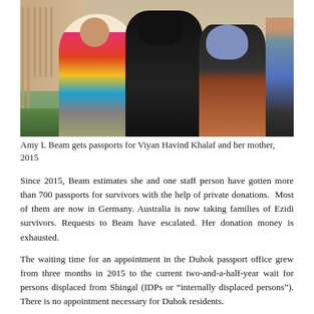[Figure (photo): Photo of Amy L Beam with Viyan Havind Khalaf and her mother, 2015. Three women standing together outdoors in front of a building. Woman on left wears a colorful patterned blouse, woman in center wears black hijab and holds a book, woman on right wears a blue/purple hijab and patterned dress. A fourth person is partially visible on the far right.]
Amy L Beam gets passports for Viyan Havind Khalaf and her mother, 2015
Since 2015, Beam estimates she and one staff person have gotten more than 700 passports for survivors with the help of private donations.  Most of them are now in Germany. Australia is now taking families of Ezidi survivors. Requests to Beam have escalated. Her donation money is exhausted.
The waiting time for an appointment in the Duhok passport office grew from three months in 2015 to the current two-and-a-half-year wait for persons displaced from Shingal (IDPs or “internally displaced persons”). There is no appointment necessary for Duhok residents.